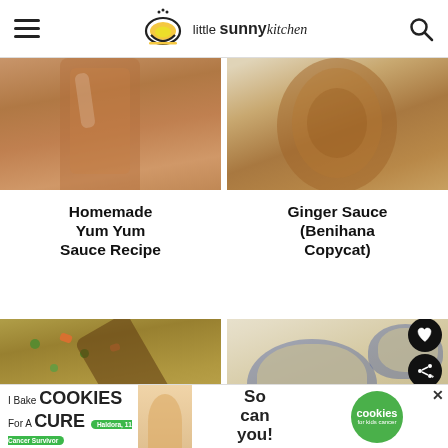little sunny kitchen
[Figure (photo): Homemade Yum Yum Sauce in a glass, brown creamy sauce]
Homemade Yum Yum Sauce Recipe
[Figure (photo): Ginger Sauce in a jar, Benihana Copycat]
Ginger Sauce (Benihana Copycat)
[Figure (photo): Fried rice with peas, carrots, and a wooden spoon in a white plate]
[Figure (photo): Brown rice in a blue decorative bowl with another blue bowl in background]
[Figure (other): Advertisement banner: I Bake COOKIES For A CURE - Haldora 11 Cancer Survivor - So can you! cookies for kids cancer]